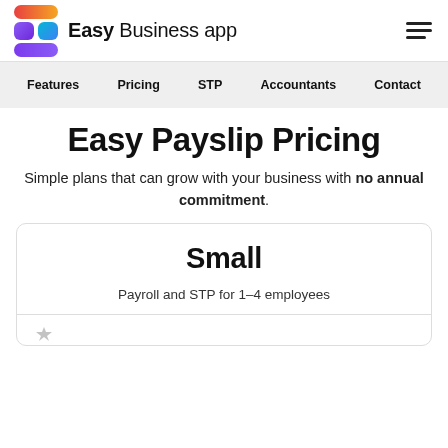Easy Business app
Features  Pricing  STP  Accountants  Contact
Easy Payslip Pricing
Simple plans that can grow with your business with no annual commitment.
Small
Payroll and STP for 1–4 employees